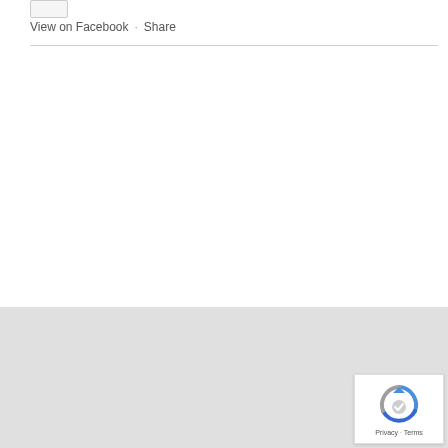View on Facebook  ·  Share
[Figure (screenshot): reCAPTCHA widget showing circular arrow icon with 'Privacy · Terms' text below]